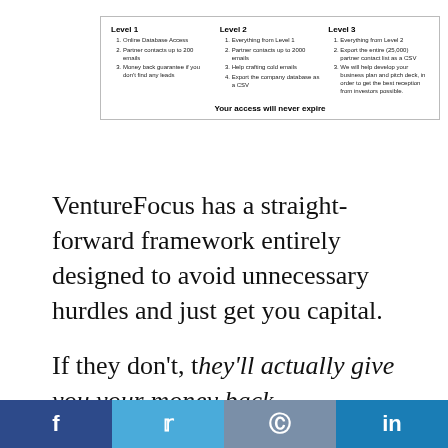[Figure (table-as-image): Three-column pricing table showing Level 1, Level 2, and Level 3 tiers with features listed under each, and footer text 'Your access will never expire']
VentureFocus has a straight-forward framework entirely designed to avoid unnecessary hurdles and just get you capital.
If they don't, they'll actually give you your money back.
Of all the gambles a startup is going to
[Figure (other): Social sharing bar with Facebook, Twitter, Reddit, and LinkedIn buttons]